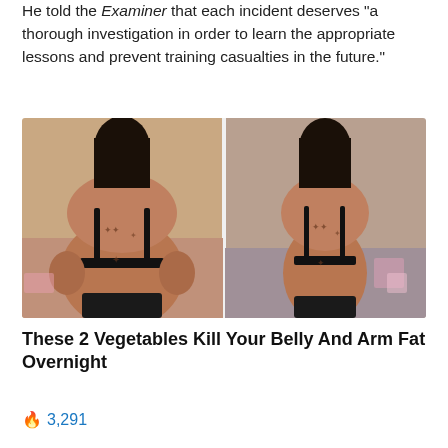He told the Examiner that each incident deserves “a thorough investigation in order to learn the appropriate lessons and prevent training casualties in the future.”
[Figure (photo): Before and after weight loss comparison photo showing a woman’s back in two panels: left panel shows a heavier figure in a black bra, right panel shows a slimmer figure in a black bra. Both have visible tattoos on the back and shoulders.]
These 2 Vegetables Kill Your Belly And Arm Fat Overnight
🔥 3,291